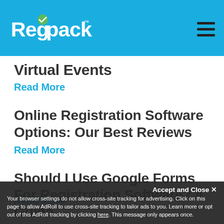Regpack
Virtual Events
Read More
Online Registration Software Options: Our Best Reviews
Read More
Should I Use Google Forms For Registration Software? A Guide
Read More
Accept and Close ✕
Your browser settings do not allow cross-site tracking for advertising. Click on this page to allow AdRoll to use cross-site tracking to tailor ads to you. Learn more or opt out of this AdRoll tracking by clicking here. This message only appears once.